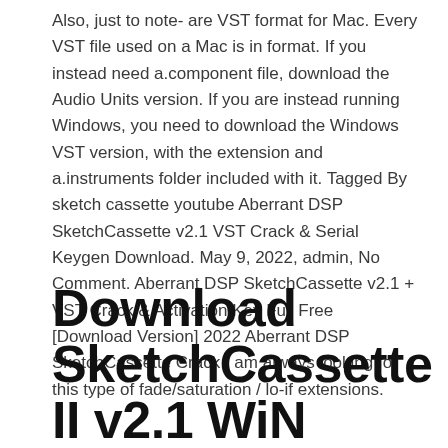Also, just to note- are VST format for Mac. Every VST file used on a Mac is in format. If you instead need a.component file, download the Audio Units version. If you are instead running Windows, you need to download the Windows VST version, with the extension and a.instruments folder included with it. Tagged By sketch cassette youtube Aberrant DSP SketchCassette v2.1 VST Crack & Serial Keygen Download. May 9, 2022, admin, No Comment. Aberrant DSP SketchCassette v2.1 + VST Crack & Activation Key Full Free [Download Version] 2022 Aberrant DSP SketchCassette Crack I am always looking for this type of fade/saturation / lo-if extensions.
Download SketchCassette II v2.1 WiN MAC-FLARE